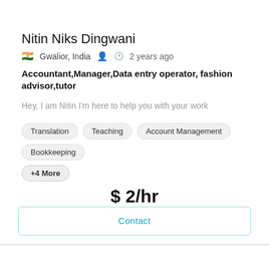Nitin Niks Dingwani
🇮🇳 Gwalior, India  👤  🕐 2 years ago
Accountant,Manager,Data entry operator, fashion advisor,tutor
Hey, I am Nitin I'm here to help you with your work
Translation
Teaching
Account Management
Bookkeeping
+4 More
$ 2/hr
Contact